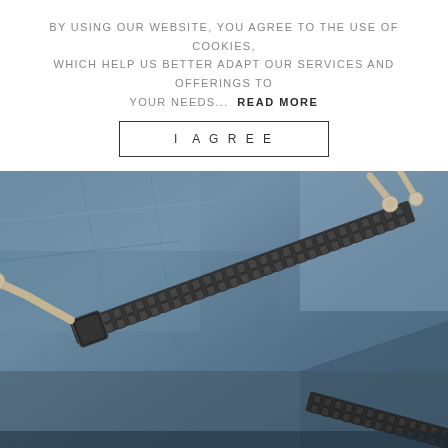BY USING OUR WEBSITE, YOU AGREE TO THE USE OF COOKIES, WHICH HELP US BETTER ADAPT OUR SERVICES AND OFFERINGS TO YOUR NEEDS...  READ MORE
I AGREE
[Figure (photo): Close-up macro photograph of a blue/steel-colored zipper on fabric, showing two zipper pulls with cream/off-white cord pulls, dark metal zipper teeth, and blue textile background]